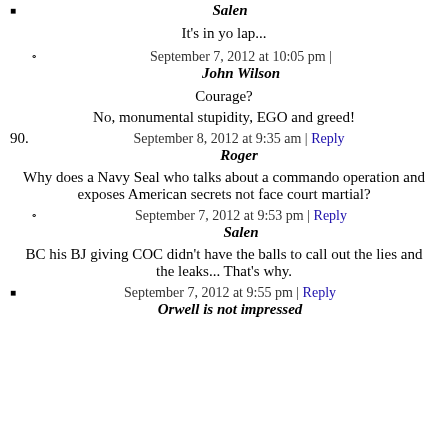Salen
It's in yo lap...
September 7, 2012 at 10:05 pm | John Wilson
Courage?
No, monumental stupidity, EGO and greed!
90. September 8, 2012 at 9:35 am | Reply Roger
Why does a Navy Seal who talks about a commando operation and exposes American secrets not face court martial?
September 7, 2012 at 9:53 pm | Reply Salen
BC his BJ giving COC didn't have the balls to call out the lies and the leaks... That's why.
September 7, 2012 at 9:55 pm | Reply Orwell is not impressed